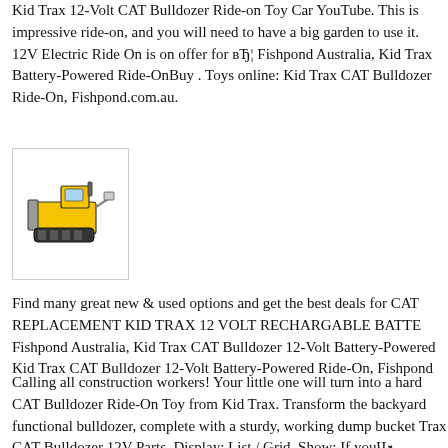Kid Trax 12-Volt CAT Bulldozer Ride-on Toy Car YouTube. This is impressive ride-on, and you will need to have a big garden to use it. 12V Electric Ride On is on offer for вЂ¦ Fishpond Australia, Kid Trax Battery-Powered Ride-OnBuy . Toys online: Kid Trax CAT Bulldozer Ride-On, Fishpond.com.au.
[Figure (photo): Small product thumbnail image of a yellow and black CAT bulldozer ride-on toy, shown in a bordered box]
Find many great new & used options and get the best deals for CAT REPLACEMENT KID TRAX 12 VOLT RECHARGABLE BATTE Fishpond Australia, Kid Trax CAT Bulldozer 12-Volt Battery-Powered Kid Trax CAT Bulldozer 12-Volt Battery-Powered Ride-On, Fishpond
Calling all construction workers! Your little one will turn into a hard CAT Bulldozer Ride-On Toy from Kid Trax. Transform the backyard functional bulldozer, complete with a sturdy, working dump bucket Trax CAT Bulldozer 12V Parts. Display: List / Grid. Show: If youвЂ